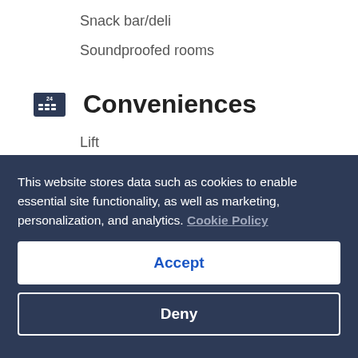Snack bar/deli
Soundproofed rooms
Conveniences
Lift
Free newspapers in reception
Front-desk safe
Guest services
24-hour front desk
Concierge services
This website stores data such as cookies to enable essential site functionality, as well as marketing, personalization, and analytics. Cookie Policy
Accept
Deny